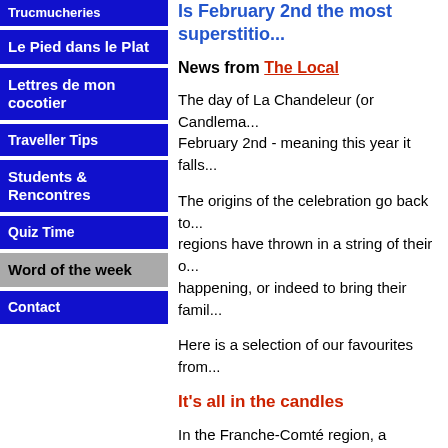Trucmucheries
Le Pied dans le Plat
Lettres de mon cocotier
Traveller Tips
Students & Rencontres
Quiz Time
Word of the week
Contact
Is February 2nd the most superstitious...
News from The Local
The day of La Chandeleur (or Candlema... February 2nd - meaning this year it falls...
The origins of the celebration go back to... regions have thrown in a string of their o... happening, or indeed to bring their famil...
Here is a selection of our favourites from...
It's all in the candles
In the Franche-Comté region, a proverb... stick all the way home from church witho... stay alive this year". A bit of a morbid su... obviously not heard what the folks down...
There, they said that if a candle's wax or... religious procession, it announced the d...
They also said that "bewitched" people c... altar candle on the day of the Chandeleu... ground then mix gold from a graveyard...